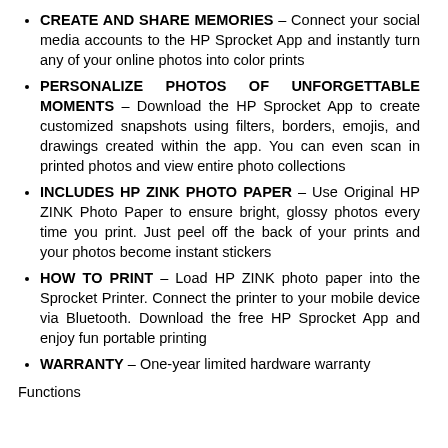CREATE AND SHARE MEMORIES – Connect your social media accounts to the HP Sprocket App and instantly turn any of your online photos into color prints
PERSONALIZE PHOTOS OF UNFORGETTABLE MOMENTS – Download the HP Sprocket App to create customized snapshots using filters, borders, emojis, and drawings created within the app. You can even scan in printed photos and view entire photo collections
INCLUDES HP ZINK PHOTO PAPER – Use Original HP ZINK Photo Paper to ensure bright, glossy photos every time you print. Just peel off the back of your prints and your photos become instant stickers
HOW TO PRINT – Load HP ZINK photo paper into the Sprocket Printer. Connect the printer to your mobile device via Bluetooth. Download the free HP Sprocket App and enjoy fun portable printing
WARRANTY – One-year limited hardware warranty
Functions